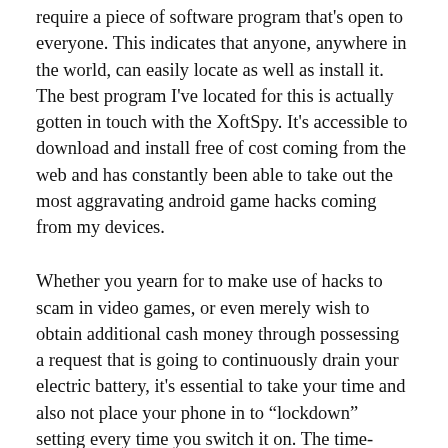require a piece of software program that's open to everyone. This indicates that anyone, anywhere in the world, can easily locate as well as install it. The best program I've located for this is actually gotten in touch with the XoftSpy. It's accessible to download and install free of cost coming from the web and has constantly been able to take out the most aggravating android game hacks coming from my devices.
Whether you yearn for to make use of hacks to scam in video games, or even merely wish to obtain additional cash money through possessing a request that is going to continuously drain your electric battery, it's essential to take your time and also not place your phone in to “lockdown” setting every time you switch it on. The time-based hacks pointed out above might not be able to regularly empty your electric battery, yet they certainly can if